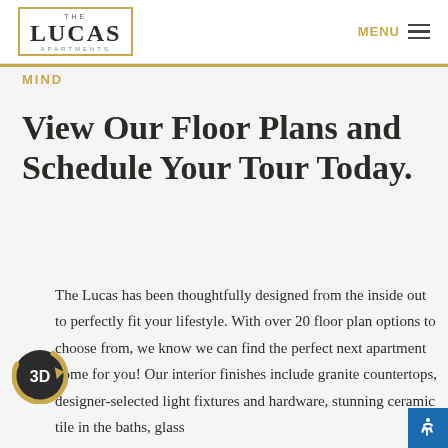THE LUCAS APARTMENTS — MENU
MIND
View Our Floor Plans and Schedule Your Tour Today.
The Lucas has been thoughtfully designed from the inside out to perfectly fit your lifestyle. With over 20 floor plan options to choose from, we know we can find the perfect next apartment home for you! Our interior finishes include granite countertops, designer-selected light fixtures and hardware, stunning ceramic tile in the baths, glass